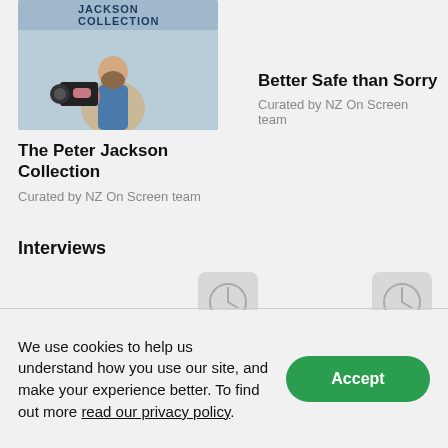[Figure (photo): Thumbnail image of a person holding a camera, with 'JACKSON COLLECTION' text overlay at the top, representing The Peter Jackson Collection]
The Peter Jackson Collection
Curated by NZ On Screen team
Better Safe than Sorry
Curated by NZ On Screen team
Interviews
[Figure (other): Clock/loading placeholder icon for interview content (left)]
[Figure (other): Clock/loading placeholder icon for interview content (right)]
We use cookies to help us understand how you use our site, and make your experience better. To find out more read our privacy policy.